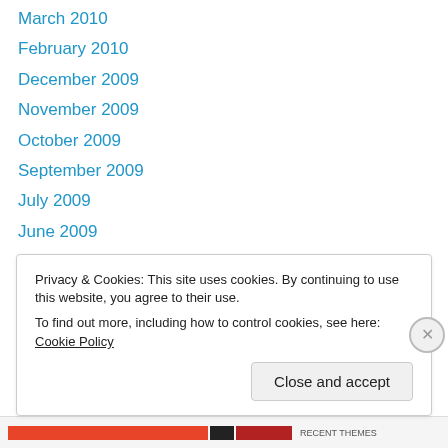March 2010
February 2010
December 2009
November 2009
October 2009
September 2009
July 2009
June 2009
May 2009
April 2009
March 2009
February 2009
January 2009
Privacy & Cookies: This site uses cookies. By continuing to use this website, you agree to their use.
To find out more, including how to control cookies, see here: Cookie Policy